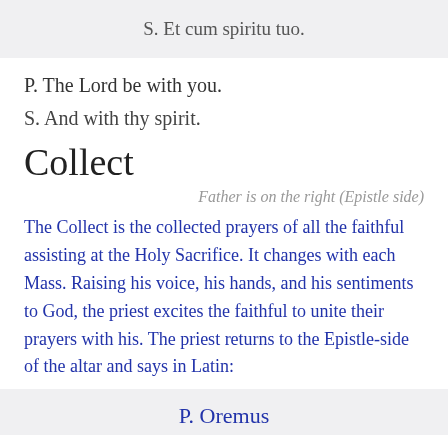S. Et cum spiritu tuo.
P. The Lord be with you.
S. And with thy spirit.
Collect
Father is on the right (Epistle side)
The Collect is the collected prayers of all the faithful assisting at the Holy Sacrifice. It changes with each Mass. Raising his voice, his hands, and his sentiments to God, the priest excites the faithful to unite their prayers with his. The priest returns to the Epistle-side of the altar and says in Latin:
P. Oremus